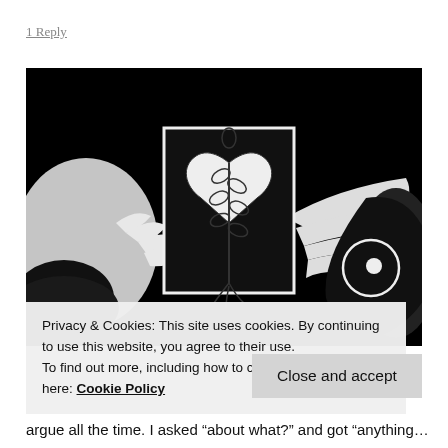1 Reply
[Figure (photo): Black and white photograph/illustration showing two hands holding a card with a heart-shaped plant drawing. A circular symbol is visible on the right side.]
Privacy & Cookies: This site uses cookies. By continuing to use this website, you agree to their use.
To find out more, including how to control cookies, see here: Cookie Policy
Close and accept
argue all the time. I asked “about what?” and got “anything...